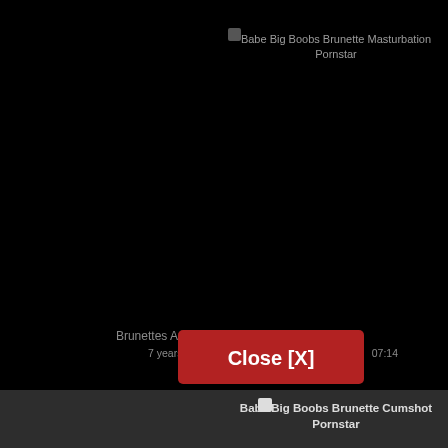[Figure (screenshot): Website screenshot showing video listing page with dark background. Contains multiple video thumbnail entries with tags. A red 'Close [X]' button overlay is visible in the center. Entries show tags like 'Babe Big Boobs Brunette Masturbation Pornstar', 'Brunettes Amy and Kelly fuck each other', and 'Busty ba...en fucks'. Bottom strip shows 'Babe Big Boobs Brunette Cumshot Pornstar' entry with lighter background.]